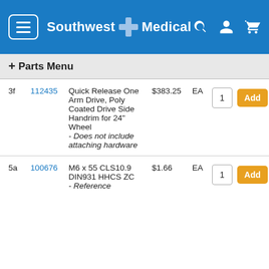Southwest Medical
+ Parts Menu
| Ref | Part # | Description | Price | Unit | Qty | Action |
| --- | --- | --- | --- | --- | --- | --- |
| 3f | 112435 | Quick Release One Arm Drive, Poly Coated Drive Side Handrim for 24" Wheel - Does not include attaching hardware | $383.25 | EA | 1 | Add |
| 5a | 100676 | M6 x 55 CLS10.9 DIN931 HHCS ZC - Reference | $1.66 | EA | 1 | Add |